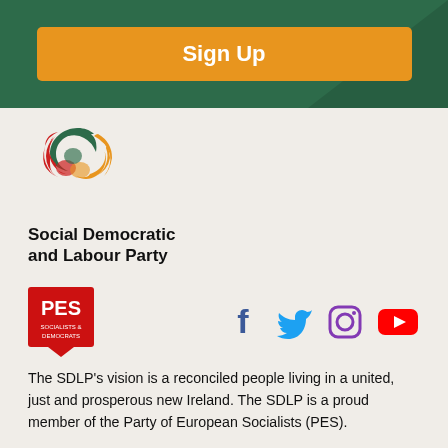Sign Up
[Figure (logo): SDLP logo - three interlocking curved shapes in green, red/orange and amber]
Social Democratic and Labour Party
[Figure (logo): PES Socialists & Democrats red badge logo]
[Figure (infographic): Social media icons: Facebook, Twitter, Instagram, YouTube]
The SDLP's vision is a reconciled people living in a united, just and prosperous new Ireland. The SDLP is a proud member of the Party of European Socialists (PES).